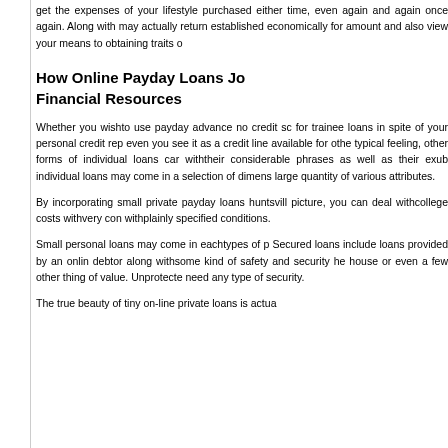get the expenses of your lifestyle purchased either time, even again and again once again. Along with may actually return established economically for amount and also view your means to obtaining traits o
How Online Payday Loans Jo Financial Resources
Whether you wishto use payday advance no credit sc for trainee loans in spite of your personal credit rep even you see it as a credit line available for othe typical feeling, other forms of individual loans car withtheir considerable phrases as well as their exub individual loans may come in a selection of dimens large quantity of various attributes.
By incorporating small private payday loans huntsvill picture, you can deal withcollege costs withvery con withplainly specified conditions.
Small personal loans may come in eachtypes of p Secured loans include loans provided by an onlin debtor along withsome kind of safety and security he house or even a few other thing of value. Unprotecte need any type of security.
The true beauty of tiny on-line private loans is actua